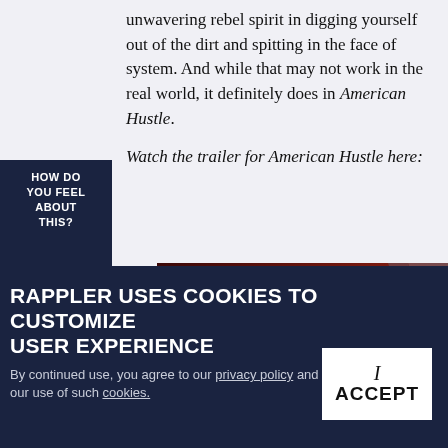unwavering rebel spirit in digging yourself out of the dirt and spitting in the face of system. And while that may not work in the real world, it definitely does in American Hustle.
HOW DO YOU FEEL ABOUT THIS?
Watch the trailer for American Hustle here:
[Figure (screenshot): Video thumbnail showing American Hustle Trailer 2013 Jennifer L with a red S logo circle on dark cinematic background]
RAPPLER USES COOKIES TO CUSTOMIZE USER EXPERIENCE
By continued use, you agree to our privacy policy and accept our use of such cookies.
I ACCEPT